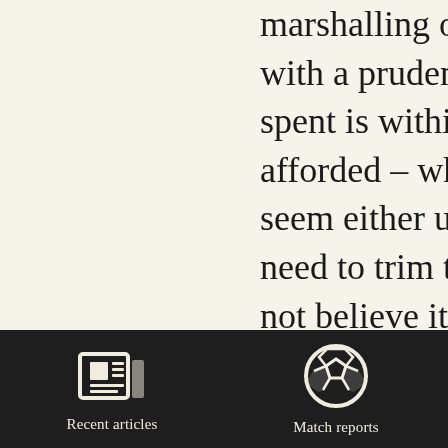marshalling of resources with a prudence – what is spent is within what can be afforded – while Roth... seem either unbridled ... need to trim that spend... not believe it will be a... for them in the future. Assuming that Rother... not robbing both Peter...
[Figure (other): Dark navigation bar with two icon buttons: 'Recent articles' (newspaper icon) and 'Match reports' (soccer ball icon)]